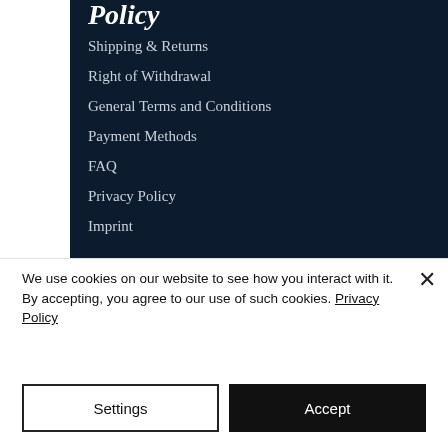Policy
Shipping & Returns
Right of Withdrawal
General Terms and Conditions
Payment Methods
FAQ
Privacy Policy
Imprint
Customer Service
Tel: +49 (0) 6196 9674465
We use cookies on our website to see how you interact with it. By accepting, you agree to our use of such cookies. Privacy Policy
Settings
Accept